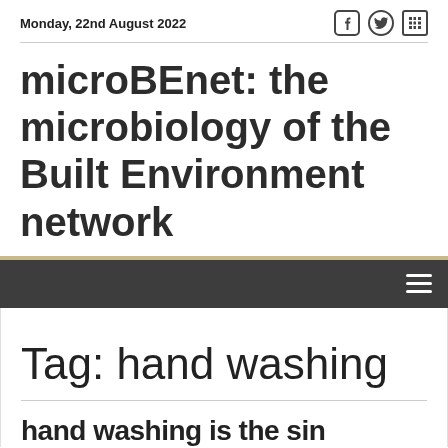Monday, 22nd August 2022
microBEnet: the microbiology of the Built Environment network
Tag: hand washing